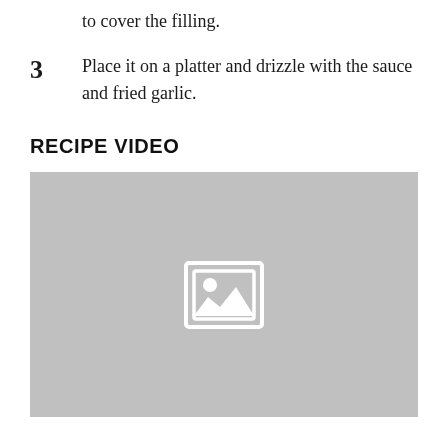to cover the filling.
3  Place it on a platter and drizzle with the sauce and fried garlic.
RECIPE VIDEO
[Figure (photo): Gray placeholder image with a broken image icon in the center, representing a recipe video thumbnail.]